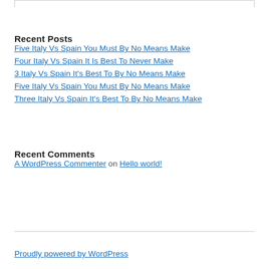Recent Posts
Five Italy Vs Spain You Must By No Means Make
Four Italy Vs Spain It Is Best To Never Make
3 Italy Vs Spain It's Best To By No Means Make
Five Italy Vs Spain You Must By No Means Make
Three Italy Vs Spain It's Best To By No Means Make
Recent Comments
A WordPress Commenter on Hello world!
Proudly powered by WordPress